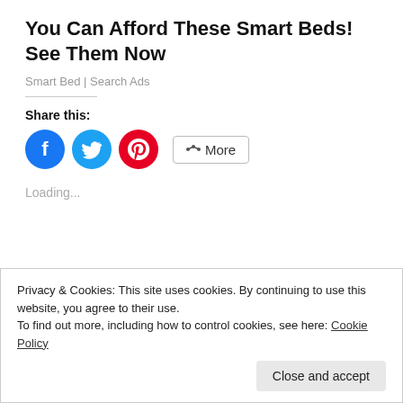You Can Afford These Smart Beds! See Them Now
Smart Bed | Search Ads
Share this:
[Figure (other): Social share buttons: Facebook (blue circle), Twitter (cyan circle), Pinterest (red circle), and a More button with share icon]
Loading...
Privacy & Cookies: This site uses cookies. By continuing to use this website, you agree to their use.
To find out more, including how to control cookies, see here: Cookie Policy
Close and accept